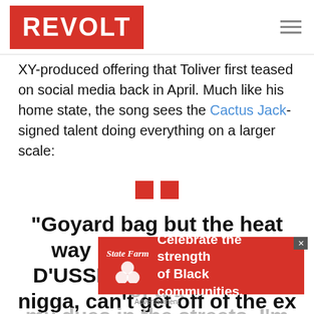REVOLT
XY-produced offering that Toliver first teased on social media back in April. Much like his home state, the song sees the Cactus Jack-signed talent doing everything on a larger scale:
[Figure (other): Two small red squares representing decorative quotation mark icon]
“Goyard bag but the heat way bigger, pour that D’USSÉ in my lemonade, nigga, can’t get off of the ex six figures, shawty ran off... paid my dues in the streets, I’m fitty,
[Figure (other): State Farm advertisement banner: Celebrate the strength of Black communities.]